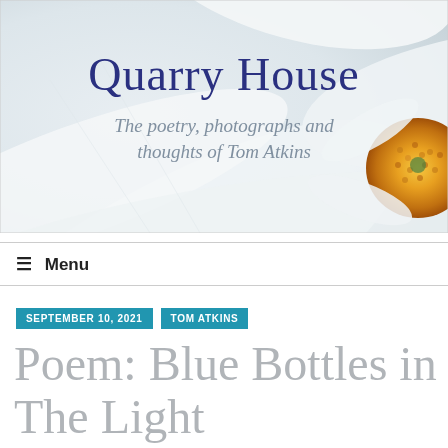[Figure (photo): Blog header image showing a close-up of white daisy petals with yellow center, with 'Quarry House' in dark blue serif font and italic subtitle 'The poetry, photographs and thoughts of Tom Atkins' in gray]
≡ Menu
SEPTEMBER 10, 2021
TOM ATKINS
Poem: Blue Bottles in The Light